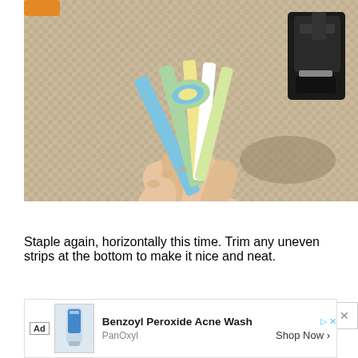[Figure (photo): A hand holding a rolled paper tube/strip being twisted or braided, with a colorful map paper visible. A black stapler is visible in the upper right corner. The background is a beige woven textile/carpet.]
Staple again, horizontally this time.  Trim any uneven strips at the bottom to make it nice and neat.
[Figure (screenshot): Advertisement bar showing 'Benzoyl Peroxide Acne Wash' by PanOxyl with a 'Shop Now' call to action and an image of a product tube.]